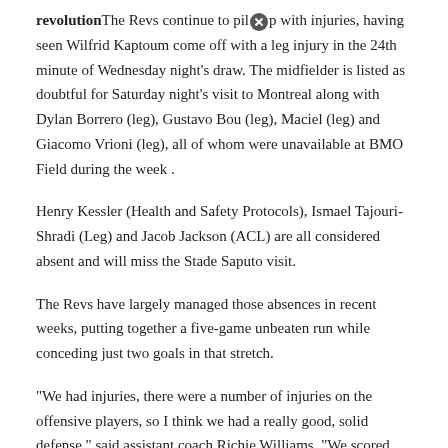revolution The Revs continue to pile up with injuries, having seen Wilfrid Kaptoum come off with a leg injury in the 24th minute of Wednesday night's draw. The midfielder is listed as doubtful for Saturday night's visit to Montreal along with Dylan Borrero (leg), Gustavo Bou (leg), Maciel (leg) and Giacomo Vrioni (leg), all of whom were unavailable at BMO Field during the week .
Henry Kessler (Health and Safety Protocols), Ismael Tajouri-Shradi (Leg) and Jacob Jackson (ACL) are all considered absent and will miss the Stade Saputo visit.
The Revs have largely managed those absences in recent weeks, putting together a five-game unbeaten run while conceding just two goals in that stretch.
"We had injuries, there were a number of injuries on the offensive players, so I think we had a really good, solid defense," said assistant coach Richie Williams. "We scored goals from some players who don't usually score, which was very helpful and I think it comes down to a really good competitive mentality and a good team effort from everyone and we're now